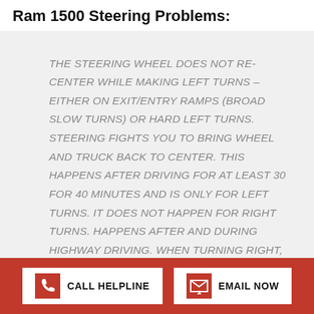Ram 1500 Steering Problems:
THE STEERING WHEEL DOES NOT RE-CENTER WHILE MAKING LEFT TURNS – EITHER ON EXIT/ENTRY RAMPS (BROAD SLOW TURNS) OR HARD LEFT TURNS. STEERING FIGHTS YOU TO BRING WHEEL AND TRUCK BACK TO CENTER. THIS HAPPENS AFTER DRIVING FOR AT LEAST 30 FOR 40 MINUTES AND IS ONLY FOR LEFT TURNS. IT DOES NOT HAPPEN FOR RIGHT TURNS. HAPPENS AFTER AND DURING HIGHWAY DRIVING. WHEN TURNING RIGHT, THE TURN HAPPENS AND THEN THE WHEELS NATURALLY RE-CENTER. THIS IS HARD TO DESCRIBE AND A SHORT TEST DRIVE DOES NOT PRODUCE THE PROBLEM. IT HAS TO BE DRIVEN FOR AT LEAST 30 MINUTES MOSTLY AT HIGHWAY
CALL HELPLINE | EMAIL NOW